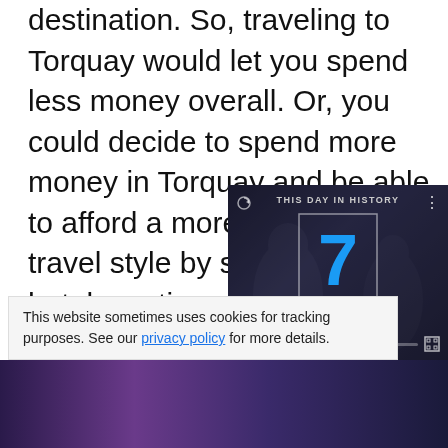destination. So, traveling to Torquay would let you spend less money overall. Or, you could decide to spend more money in Torquay and be able to afford a more luxurious travel style by staying in nicer hotels, eating at more expensive restaurants, taking tours, and experiencing more activities. The same level of travel in Sydney would naturally cost you much more money, so you would probably want to keep your budget a little tighter in Sydney than you might in Torquay.
This website sometimes uses cookies for tracking purposes. See our privacy policy for more details.
[Figure (screenshot): Video player overlay showing 'THIS DAY IN HISTORY' with the number 7 in blue and the month AUGUST, with playback controls including mute, progress bar with blue dot, and fullscreen button.]
[Figure (photo): Bottom strip showing a dark purple/violet background image, partially visible.]